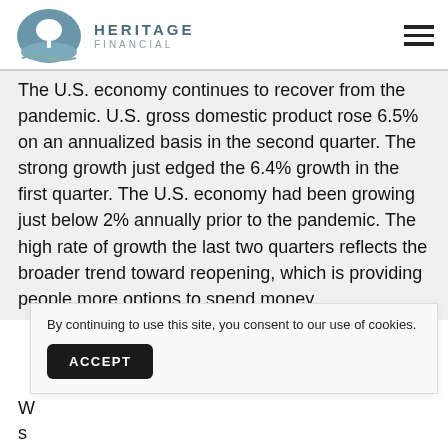HERITAGE FINANCIAL
The U.S. economy continues to recover from the pandemic. U.S. gross domestic product rose 6.5% on an annualized basis in the second quarter. The strong growth just edged the 6.4% growth in the first quarter. The U.S. economy had been growing just below 2% annually prior to the pandemic. The high rate of growth the last two quarters reflects the broader trend toward reopening, which is providing people more options to spend money.
By continuing to use this site, you consent to our use of cookies.
W
S